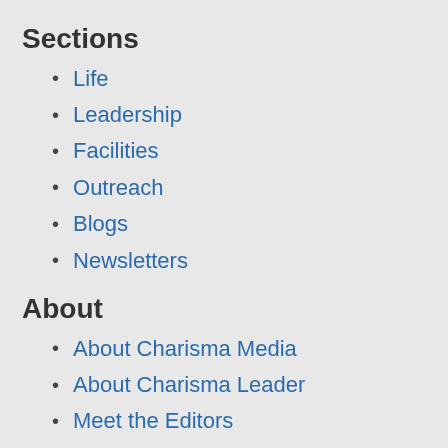Sections
Life
Leadership
Facilities
Outreach
Blogs
Newsletters
About
About Charisma Media
About Charisma Leader
Meet the Editors
Writers' Guidelines
Privacy Policy
Statement of Faith